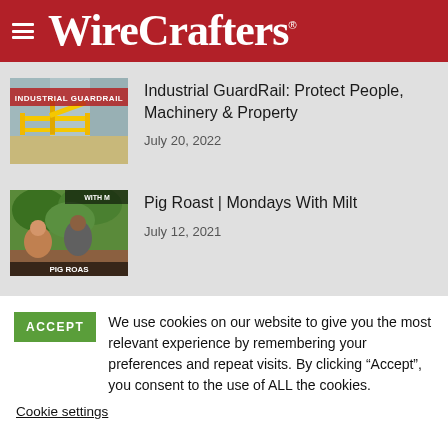WireCrafters
[Figure (photo): Industrial yellow guardrail in a warehouse setting with 'INDUSTRIAL GUARDRAIL' text overlay]
Industrial GuardRail: Protect People, Machinery & Property
July 20, 2022
[Figure (photo): Two men outdoors at a pig roast event with 'PIG ROAST' and 'WITH M' text overlays]
Pig Roast | Mondays With Milt
July 12, 2021
ACCEPT  We use cookies on our website to give you the most relevant experience by remembering your preferences and repeat visits. By clicking "Accept", you consent to the use of ALL the cookies.
Cookie settings